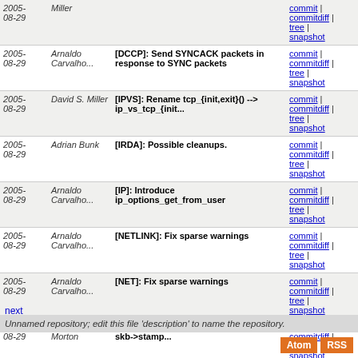| Date | Author | Message | Links |
| --- | --- | --- | --- |
| 2005-08-29 | Miller |  | commit | commitdiff | tree | snapshot |
| 2005-08-29 | Arnaldo Carvalho... | [DCCP]: Send SYNCACK packets in response to SYNC packets | commit | commitdiff | tree | snapshot |
| 2005-08-29 | David S. Miller | [IPVS]: Rename tcp_{init,exit}() --> ip_vs_tcp_{init... | commit | commitdiff | tree | snapshot |
| 2005-08-29 | Adrian Bunk | [IRDA]: Possible cleanups. | commit | commitdiff | tree | snapshot |
| 2005-08-29 | Arnaldo Carvalho... | [IP]: Introduce ip_options_get_from_user | commit | commitdiff | tree | snapshot |
| 2005-08-29 | Arnaldo Carvalho... | [NETLINK]: Fix sparse warnings | commit | commitdiff | tree | snapshot |
| 2005-08-29 | Arnaldo Carvalho... | [NET]: Fix sparse warnings | commit | commitdiff | tree | snapshot |
| 2005-08-29 | Andrew Morton | [RXRPC]: Fix build failure introduced by skb->stamp... | commit | commitdiff | tree | snapshot |
| 2005-08-29 | Andrew Morton | [DECNET]: Fix build after netlink changes. | commit | commitdiff | tree | snapshot |
next
Unnamed repository; edit this file 'description' to name the repository.